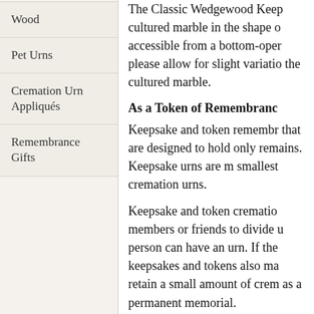Wood
Pet Urns
Cremation Urn Appliqués
Remembrance Gifts
The Classic Wedgewood Keep cultured marble in the shape o accessible from a bottom-oper please allow for slight variatio the cultured marble.
As a Token of Remembranc
Keepsake and token remembr that are designed to hold only remains. Keepsake urns are m smallest cremation urns.
Keepsake and token crematio members or friends to divide u person can have an urn. If the keepsakes and tokens also ma retain a small amount of crem as a permanent memorial.
Perfect for Home Display or
Because of the strength of cul this urn to be buried in an eart However, you should still che sure. Once buried, cultured ma pressures of a cemetery (i. e.